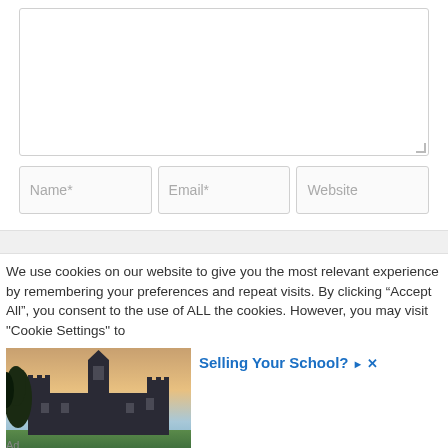[Figure (screenshot): Web form with a large textarea input field with a resize handle in the bottom-right corner]
[Figure (screenshot): Three input fields in a row: Name*, Email*, and Website]
We use cookies on our website to give you the most relevant experience by remembering your preferences and repeat visits. By clicking “Accept All”, you consent to the use of ALL the cookies. However, you may visit "Cookie Settings" to
[Figure (photo): Advertisement showing a gothic university building with trees in foreground against a sunset sky. Ad title reads 'Selling Your School?' with controls and 'Ad' label below.]